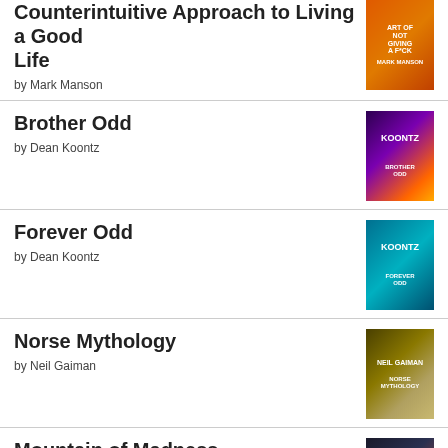The Subtle Art of Not Giving a F*ck: A Counterintuitive Approach to Living a Good Life by Mark Manson
Brother Odd by Dean Koontz
Forever Odd by Dean Koontz
Norse Mythology by Neil Gaiman
Mountain of Madness by Derek Prior